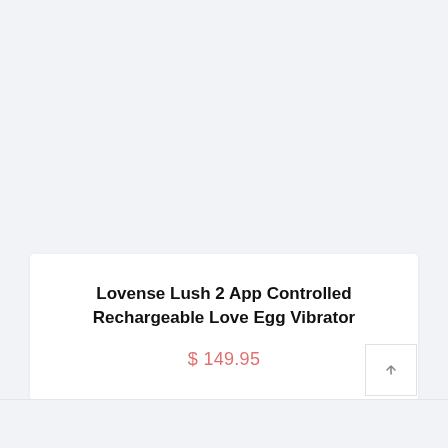[Figure (other): Product image area — light gray background, image not visible in this crop]
Lovense Lush 2 App Controlled Rechargeable Love Egg Vibrator
$ 149.95